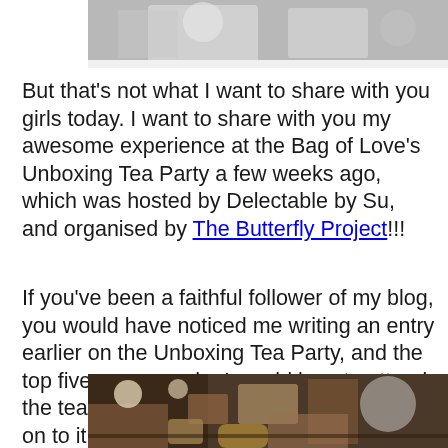[Figure (photo): Partial top photo showing items on a white surface including a glass]
But that's not what I want to share with you girls today. I want to share with you my awesome experience at the Bag of Love's Unboxing Tea Party a few weeks ago, which was hosted by Delectable by Su, and organised by The Butterfly Project!!!
If you've been a faithful follower of my blog, you would have noticed me writing an entry earlier on the Unboxing Tea Party, and the top five reasons why I would love to attend the tea party :) If you haven't, you can head on to it here *click*
[Figure (photo): Bottom photo showing a party table with various items, products, and decorations]